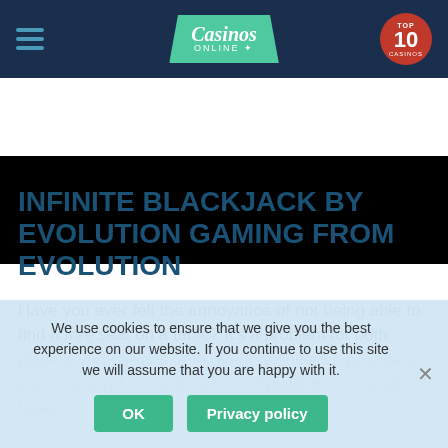Casinos Online — Top 10 Casinos
[Figure (screenshot): Black video player area]
INFINITE BLACKJACK BY EVOLUTION GAMING FROM EVOLUTION
Have you ever felt the annoyance of not being able to find a free seat on a table? It's a problem for both players and casinos, and one that software providers... just... concept. According to... all playing on a single table...
We use cookies to ensure that we give you the best experience on our website. If you continue to use this site we will assume that you are happy with it.